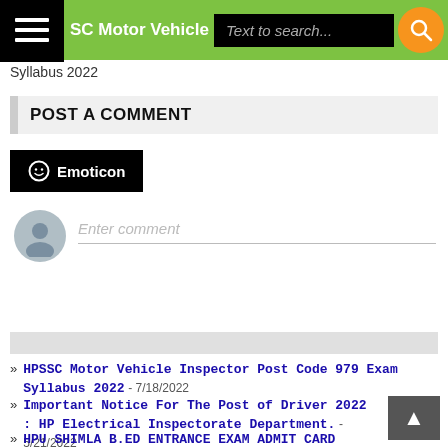SC Motor Vehicle Inspector Syllabus 2022
POST A COMMENT
Emoticon
Enter comment
HPSSC Motor Vehicle Inspector Post Code 979 Exam Syllabus 2022 - 7/18/2022
Important Notice For The Post of Driver 2022 : HP Electrical Inspectorate Department. - 5/21/2022
HPU SHIMLA B.ED ENTRANCE EXAM ADMIT CARD